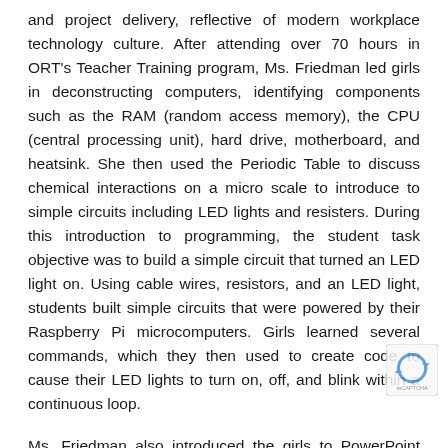and project delivery, reflective of modern workplace technology culture. After attending over 70 hours in ORT's Teacher Training program, Ms. Friedman led girls in deconstructing computers, identifying components such as the RAM (random access memory), the CPU (central processing unit), hard drive, motherboard, and heatsink. She then used the Periodic Table to discuss chemical interactions on a micro scale to introduce to simple circuits including LED lights and resisters. During this introduction to programming, the student task objective was to build a simple circuit that turned an LED light on. Using cable wires, resistors, and an LED light, students built simple circuits that were powered by their Raspberry Pi microcomputers. Girls learned several commands, which they then used to create code to cause their LED lights to turn on, off, and blink within a continuous loop.
Ms. Friedman also introduced the girls to PowerPoint animations where the girls were tasked to create their own Purim-themed videos. All STEM classes incorporate project-based learning, where girls work in groups for the duration of the year-long course that fosters inclusiveness for all team members.